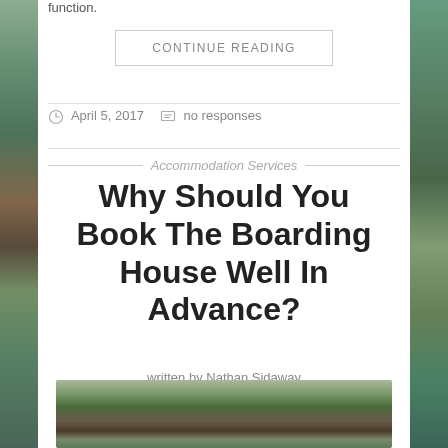function.
CONTINUE READING
April 5, 2017   no responses
Accommodation Services
Why Should You Book The Boarding House Well In Advance?
written by Nathan Sidaway
[Figure (photo): Photo of plants/herbs in a bowl, partially visible at bottom of page]